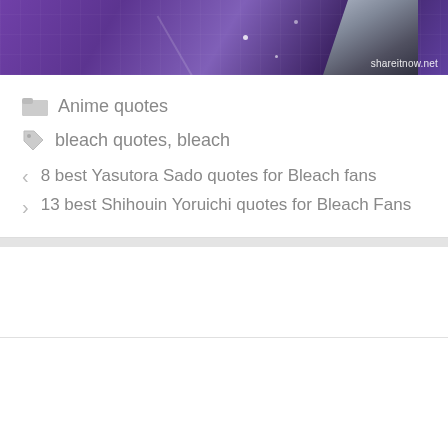[Figure (illustration): Purple and dark anime-style background image with a character silhouette in the top right corner and a watermark 'shareitnow.net' in the bottom right.]
Anime quotes
bleach quotes, bleach
8 best Yasutora Sado quotes for Bleach fans
13 best Shihouin Yoruichi quotes for Bleach Fans